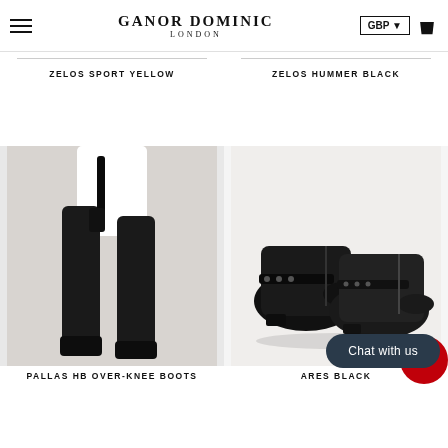GANOR DOMINIC LONDON | GBP
ZELOS SPORT YELLOW
ZELOS HUMMER BLACK
[Figure (photo): Black over-knee leather boots worn by a model in a white mini dress]
PALLAS HB OVER-KNEE BOOTS
[Figure (photo): Pair of black leather ankle boots with studs and buckle straps on white background]
ARES BLACK